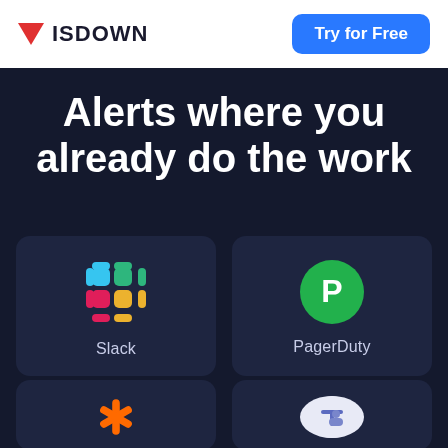ISDOWN | Try for Free
Alerts where you already do the work
[Figure (logo): Slack app integration card with Slack logo (colored grid of rounded squares) and label 'Slack']
[Figure (logo): PagerDuty app integration card with green circle containing white 'P' letter and label 'PagerDuty']
[Figure (logo): Zapier app integration card with orange asterisk/star logo, partially visible]
[Figure (logo): Microsoft Teams app integration card with Teams logo, partially visible]